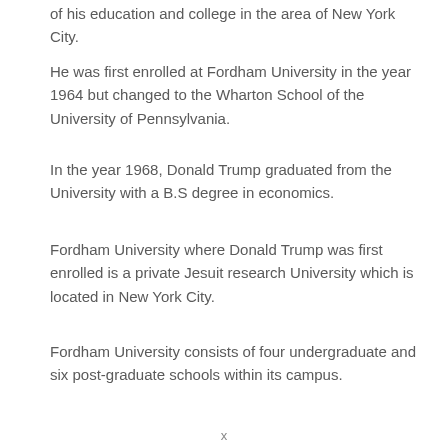of his education and college in the area of New York City.
He was first enrolled at Fordham University in the year 1964 but changed to the Wharton School of the University of Pennsylvania.
In the year 1968, Donald Trump graduated from the University with a B.S degree in economics.
Fordham University where Donald Trump was first enrolled is a private Jesuit research University which is located in New York City.
Fordham University consists of four undergraduate and six post-graduate schools within its campus.
The University provides degrees in Arts and science, business studies, law, and religious studies.
x